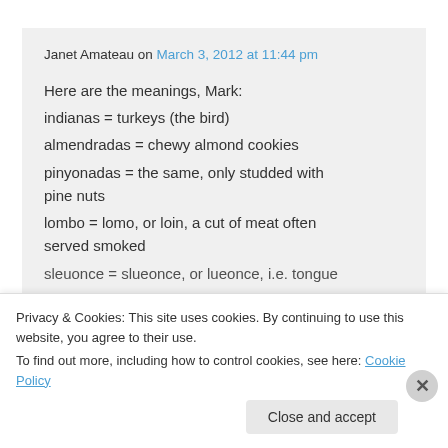Janet Amateau on March 3, 2012 at 11:44 pm
Here are the meanings, Mark:
indianas = turkeys (the bird)
almendradas = chewy almond cookies
pinyonadas = the same, only studded with pine nuts
lombo = lomo, or loin, a cut of meat often served smoked
sleuonce = slueonce, or lueonce, i.e. tongue
Privacy & Cookies: This site uses cookies. By continuing to use this website, you agree to their use.
To find out more, including how to control cookies, see here: Cookie Policy